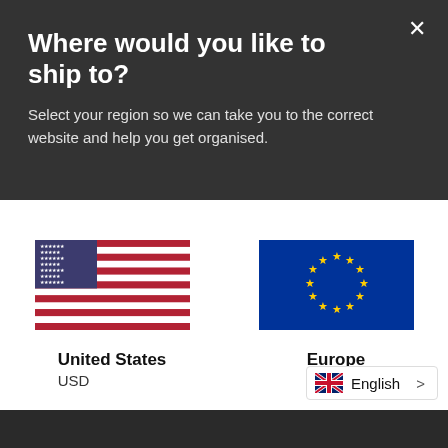Where would you like to ship to?
Select your region so we can take you to the correct website and help you get organised.
[Figure (illustration): US flag icon]
United States
USD
[Figure (illustration): EU flag icon]
Europe
EUR
English >